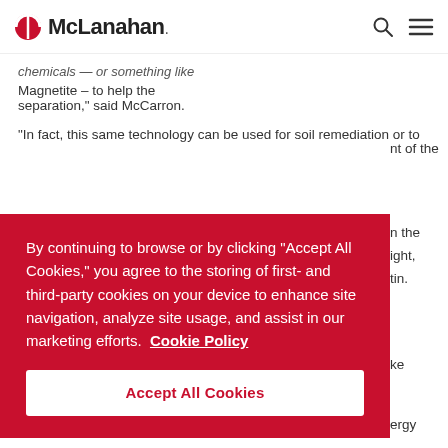McLanahan
chemicals — or something like Magnetite – to help the separation," said McCarron.
"In fact, this same technology can be used for soil remediation or to
By continuing to browse or by clicking "Accept All Cookies," you agree to the storing of first- and third-party cookies on your device to enhance site navigation, analyze site usage, and assist in our marketing efforts. Cookie Policy
Accept All Cookies
nt of the
n the ight, tin.
ke
ergy